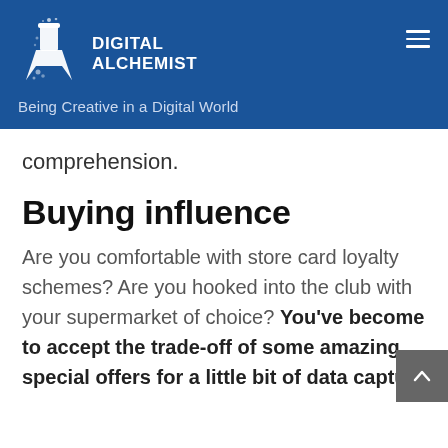[Figure (logo): Digital Alchemist logo with flask/beaker icon and text 'DIGITAL ALCHEMIST' and tagline 'Being Creative in a Digital World' on blue header background]
comprehension.
Buying influence
Are you comfortable with store card loyalty schemes? Are you hooked into the club with your supermarket of choice? You've become to accept the trade-off of some amazing special offers for a little bit of data capture